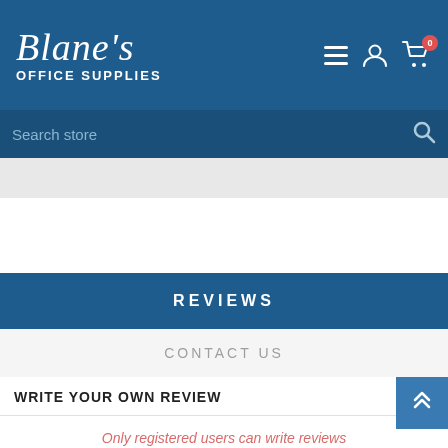Blane's OFFICE SUPPLIES
Search store
REVIEWS
CONTACT US
WRITE YOUR OWN REVIEW
Only registered users can write reviews
Review title: